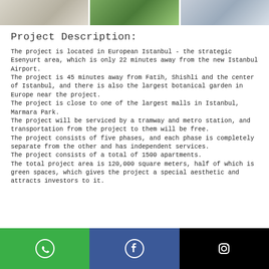[Figure (photo): Three building/apartment complex photos in a horizontal strip at the top]
Project Description:
The project is located in European Istanbul - the strategic Esenyurt area, which is only 22 minutes away from the new Istanbul Airport.
The project is 45 minutes away from Fatih, Shishli and the center of Istanbul, and there is also the largest botanical garden in Europe near the project.
The project is close to one of the largest malls in Istanbul, Marmara Park.
The project will be serviced by a tramway and metro station, and transportation from the project to them will be free.
The project consists of five phases, and each phase is completely separate from the other and has independent services.
The project consists of a total of 1500 apartments.
The total project area is 120,000 square meters, half of which is green spaces, which gives the project a special aesthetic and attracts investors to it.
[Figure (other): Footer bar with WhatsApp (green), Facebook (blue), and Instagram (black) social media icons]